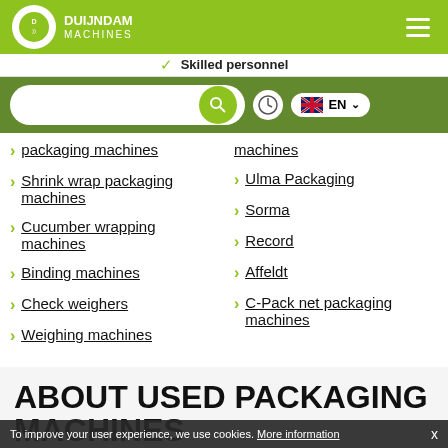[Figure (logo): Duijndam Machines logo - circular icon with DM letters and company name in white on green background]
Skilled personnel
[Figure (screenshot): Search bar with magnifying glass green button, clock icon, UK flag EN language selector on green/photo background]
packaging machines
Shrink wrap packaging machines
Cucumber wrapping machines
Binding machines
Check weighers
Weighing machines
machines
Ulma Packaging
Sorma
Record
Affeldt
C-Pack net packaging machines
ABOUT USED PACKAGING MACHINES
To improve your user experience, we use cookies. More information